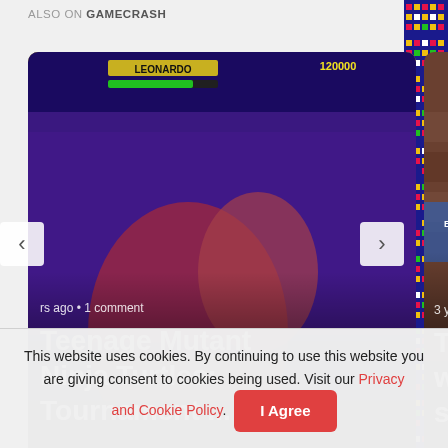ALSO ON GAMECRASH
[Figure (screenshot): Carousel showing two article cards: 1) Teenage Mutant Ninja Turtles: Tournament... game screenshot with LEONARDO label and score 120000, 2) The difficulties with imposter syndrome... with Spider-Man screenshot. Left and right navigation arrows visible.]
What do you think?
0 Responses
[Figure (illustration): Three emoji reaction icons: thumbs up (yellow), angry face (yellow), and heart eyes (red)]
This website uses cookies. By continuing to use this website you are giving consent to cookies being used. Visit our Privacy and Cookie Policy.
I Agree